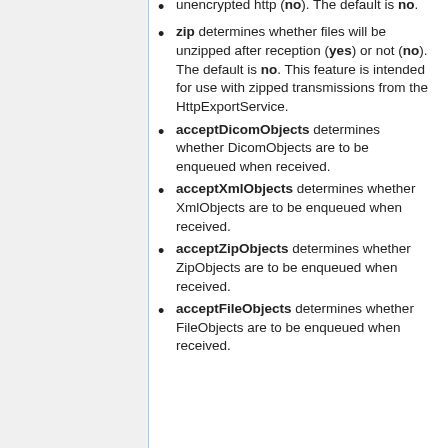zip determines whether files will be unzipped after reception (yes) or not (no). The default is no. This feature is intended for use with zipped transmissions from the HttpExportService.
acceptDicomObjects determines whether DicomObjects are to be enqueued when received.
acceptXmlObjects determines whether XmlObjects are to be enqueued when received.
acceptZipObjects determines whether ZipObjects are to be enqueued when received.
acceptFileObjects determines whether FileObjects are to be enqueued when received.